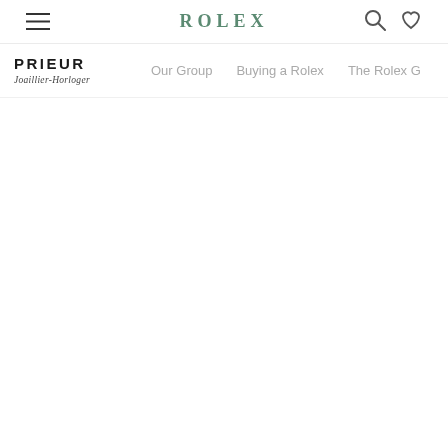ROLEX
[Figure (logo): Hamburger menu icon (three horizontal lines)]
[Figure (logo): Search icon (magnifying glass)]
[Figure (logo): Heart/wishlist icon]
[Figure (logo): PRIEUR Joaillier-Horloger logo]
Our Group
Buying a Rolex
The Rolex G